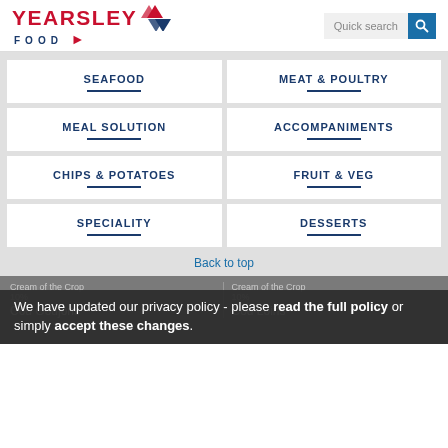[Figure (logo): Yearsley Food logo with red text and diamond graphic]
Quick search
SEAFOOD
MEAT & POULTRY
MEAL SOLUTION
ACCOMPANIMENTS
CHIPS & POTATOES
FRUIT & VEG
SPECIALITY
DESSERTS
Back to top
Cream of the Crop
Cod Goujons
Cream of the Crop
Cod Loins
We have updated our privacy policy - please read the full policy or simply accept these changes.